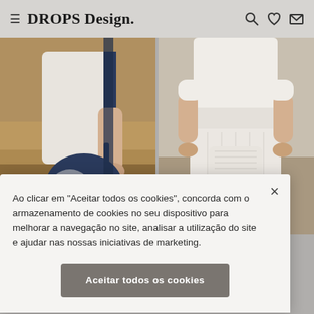DROPS Design.
[Figure (photo): Two fashion/knitting product photos: left shows a person in a white top holding a navy-blue and white knitted bag in a field; right shows a person in a white short-sleeve top and white knitted shorts holding a small white knitted purse.]
Ao clicar em "Aceitar todos os cookies", concorda com o armazenamento de cookies no seu dispositivo para melhorar a navegação no site, analisar a utilização do site e ajudar nas nossas iniciativas de marketing.
Aceitar todos os cookies